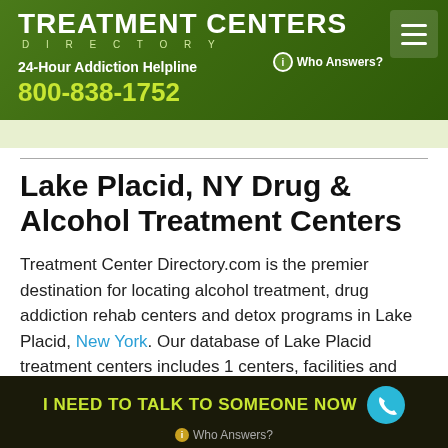TREATMENT CENTERS DIRECTORY — 24-Hour Addiction Helpline 800-838-1752 — Who Answers?
Lake Placid, NY Drug & Alcohol Treatment Centers
Treatment Center Directory.com is the premier destination for locating alcohol treatment, drug addiction rehab centers and detox programs in Lake Placid, New York. Our database of Lake Placid treatment centers includes 1 centers, facilities and doctors.
I NEED TO TALK TO SOMEONE NOW — Who Answers?